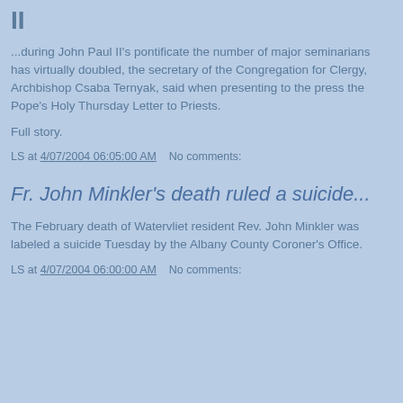II
...during John Paul II's pontificate the number of major seminarians has virtually doubled, the secretary of the Congregation for Clergy, Archbishop Csaba Ternyak, said when presenting to the press the Pope's Holy Thursday Letter to Priests.
Full story.
LS at 4/07/2004 06:05:00 AM    No comments:
Fr. John Minkler's death ruled a suicide...
The February death of Watervliet resident Rev. John Minkler was labeled a suicide Tuesday by the Albany County Coroner's Office.
LS at 4/07/2004 06:00:00 AM    No comments: